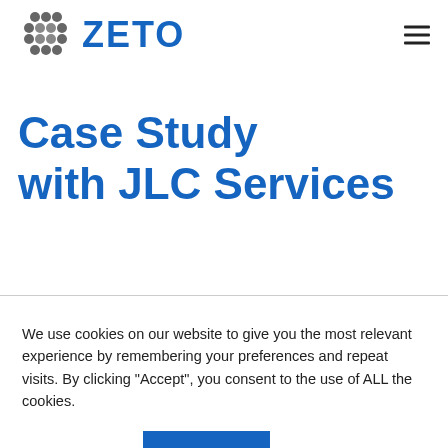ZETO
Case Study with JLC Services
We use cookies on our website to give you the most relevant experience by remembering your preferences and repeat visits. By clicking “Accept”, you consent to the use of ALL the cookies.
Cookie settings | ACCEPT